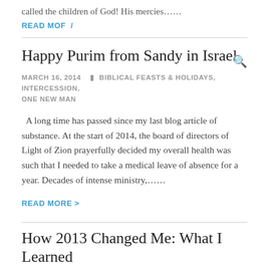called the children of God! His mercies……
READ MORE /
Happy Purim from Sandy in Israel
MARCH 16, 2014   BIBLICAL FEASTS & HOLIDAYS, INTERCESSION, ONE NEW MAN
A long time has passed since my last blog article of substance. At the start of 2014, the board of directors of Light of Zion prayerfully decided my overall health was such that I needed to take a medical leave of absence for a year. Decades of intense ministry,……
READ MORE >
How 2013 Changed Me: What I Learned